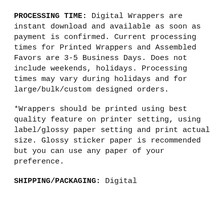PROCESSING TIME: Digital Wrappers are instant download and available as soon as payment is confirmed. Current processing times for Printed Wrappers and Assembled Favors are 3-5 Business Days. Does not include weekends, holidays. Processing times may vary during holidays and for large/bulk/custom designed orders.
*Wrappers should be printed using best quality feature on printer setting, using label/glossy paper setting and print actual size. Glossy sticker paper is recommended but you can use any paper of your preference.
SHIPPING/PACKAGING: Digital